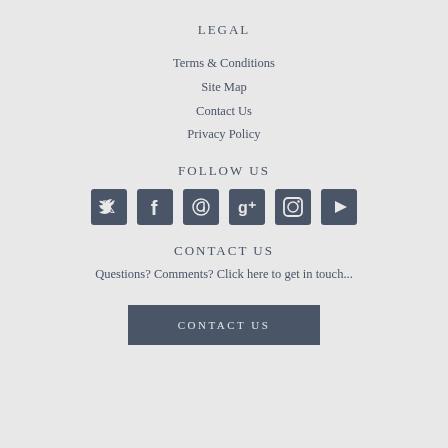LEGAL
Terms & Conditions
Site Map
Contact Us
Privacy Policy
FOLLOW US
[Figure (infographic): Six social media icons: Twitter, Facebook, Pinterest, Google+, Instagram, YouTube]
CONTACT US
Questions? Comments? Click here to get in touch...
CONTACT US